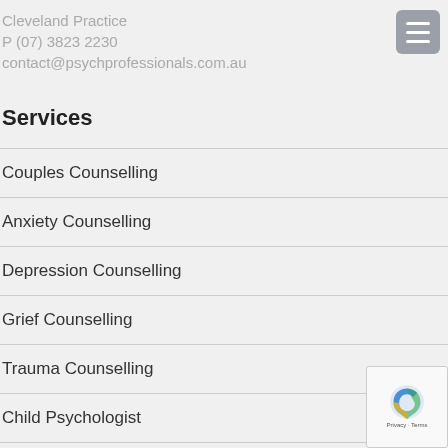Cleveland Practice
P (07) 3823 2230
contact@psychprofessionals.com.au
Services
Couples Counselling
Anxiety Counselling
Depression Counselling
Grief Counselling
Trauma Counselling
Child Psychologist
Autism, ADHAD, Aspergers
Animal Assisted Therapy